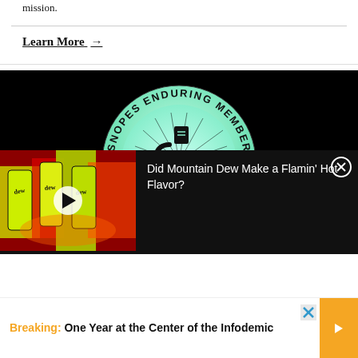mission.
Learn More →
[Figure (logo): Snopes Enduring Member badge/logo on black background — circular badge with iridescent/holographic teal-green gradient circle, black text reading 'SNOPES ENDURING MEMBER' around the top arc, and a stylized S letter mark in the center.]
[Figure (screenshot): Video overlay showing Mountain Dew Flamin' Hot branded cans/packaging in red, yellow and black with play button. Title: 'Did Mountain Dew Make a Flamin' Hot Flavor?' with close (X) button.]
Did Mountain Dew Make a Flamin’ Hot Flavor?
Breaking: One Year at the Center of the Infodemic